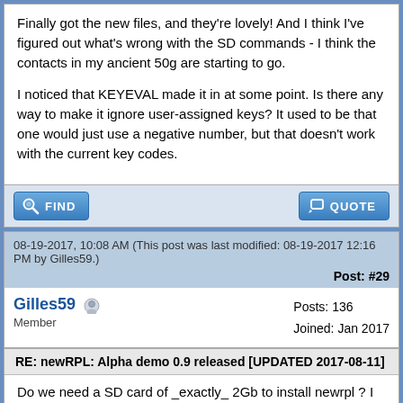Finally got the new files, and they're lovely! And I think I've figured out what's wrong with the SD commands - I think the contacts in my ancient 50g are starting to go.

I noticed that KEYEVAL made it in at some point. Is there any way to make it ignore user-assigned keys? It used to be that one would just use a negative number, but that doesn't work with the current key codes.
08-19-2017, 10:08 AM (This post was last modified: 08-19-2017 12:16 PM by Gilles59.)
Post: #29
Gilles59
Member
Posts: 136
Joined: Jan 2017
RE: newRPL: Alpha demo 0.9 released [UPDATED 2017-08-11]
Do we need a SD card of _exactly_ 2Gb to install newrpl ? I try with a old 128Mb SD card in FAT16 but i get a SD card error message.
By the way, i can access the files on the 50G using th FILES menu

I follow the instruction here :